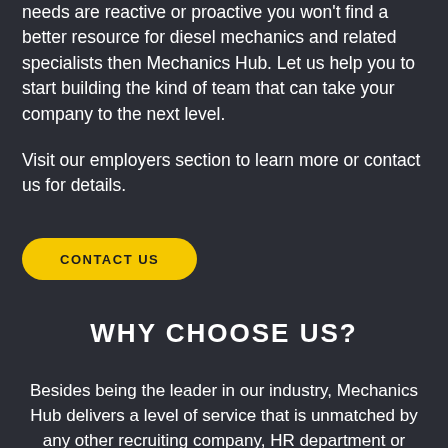needs are reactive or proactive you won't find a better resource for diesel mechanics and related specialists then Mechanics Hub. Let us help you to start building the kind of team that can take your company to the next level.
Visit our employers section to learn more or contact us for details.
CONTACT US
WHY CHOOSE US?
Besides being the leader in our industry, Mechanics Hub delivers a level of service that is unmatched by any other recruiting company, HR department or internal effort.